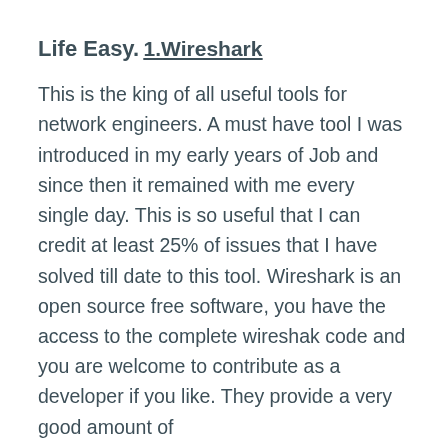Life Easy.
1.Wireshark
This is the king of all useful tools for network engineers. A must have tool I was introduced in my early years of Job and since then it remained with me every single day. This is so useful that I can credit at least 25% of issues that I have solved till date to this tool. Wireshark is an open source free software, you have the access to the complete wireshak code and you are welcome to contribute as a developer if you like. They provide a very good amount of